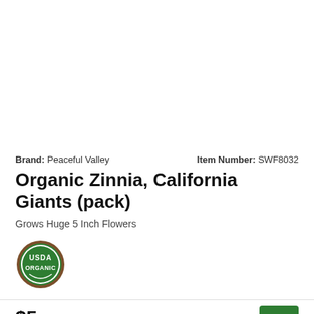Brand: Peaceful Valley   Item Number: SWF8032
Organic Zinnia, California Giants (pack)
Grows Huge 5 Inch Flowers
[Figure (logo): USDA Organic circular badge with green and brown colors]